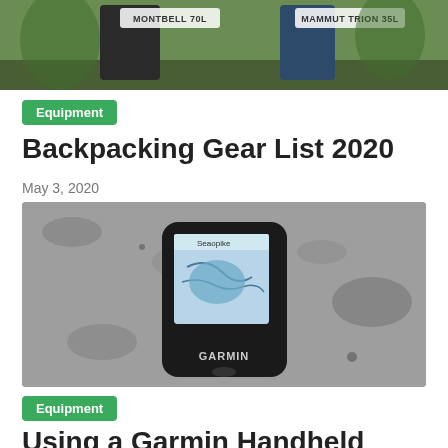[Figure (photo): Two backpackers from behind, showing packs labeled Montbell 70L (left) and Mammut Trion 35L (right), standing outdoors among trees.]
Montbell 70L   Mammut Trion 35L
Equipment
Backpacking Gear List 2020
May 3, 2020
[Figure (photo): A Garmin handheld GPS device displaying a topographic map, resting on a granite rock surface.]
Equipment
Using a Garmin Handheld GPS in Japan